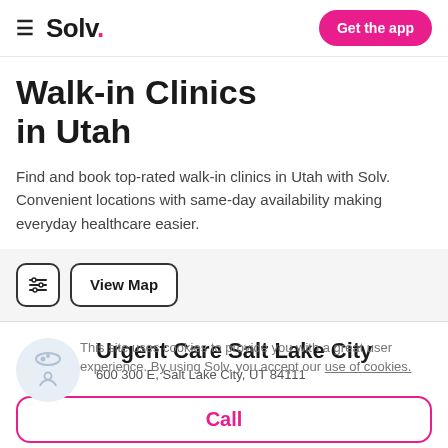Solv. — Get the app
Walk-in Clinics in Utah
Find and book top-rated walk-in clinics in Utah with Solv. Convenient locations with same-day availability making everyday healthcare easier.
View Map
Urgent Care Salt Lake City
600 300 E, Salt Lake City, UT 84111
This site uses cookies to provide you with a great user experience. By using Solv, you accept our use of cookies.